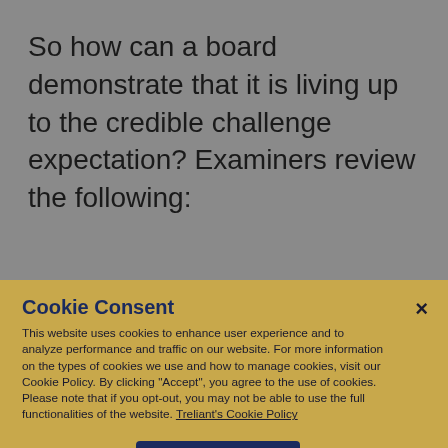So how can a board demonstrate that it is living up to the credible challenge expectation? Examiners review the following:
Cookie Consent
This website uses cookies to enhance user experience and to analyze performance and traffic on our website. For more information on the types of cookies we use and how to manage cookies, visit our Cookie Policy. By clicking "Accept", you agree to the use of cookies. Please note that if you opt-out, you may not be able to use the full functionalities of the website. Treliant's Cookie Policy